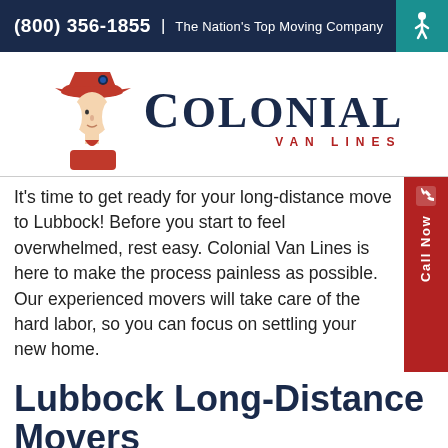(800) 356-1855 | The Nation's Top Moving Company
[Figure (logo): Colonial Van Lines logo with colonial man figure in red tricorn hat and the text 'Colonial Van Lines']
It's time to get ready for your long-distance move to Lubbock! Before you start to feel overwhelmed, rest easy. Colonial Van Lines is here to make the process painless as possible. Our experienced movers will take care of the hard labor, so you can focus on settling into your new home.
Lubbock Long-Distance Movers